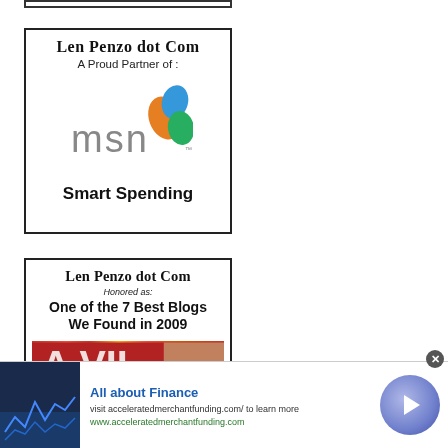[Figure (logo): Partial top box with border, cropped at top of page]
[Figure (logo): Len Penzo dot Com box — A Proud Partner of MSN Smart Spending, with MSN butterfly logo]
[Figure (logo): Len Penzo dot Com box — Honored as: One of the 7 Best Blogs We Found in 2009, with partial magazine cover image]
[Figure (infographic): Ad banner: All about Finance — visit acceleratedmerchantfunding.com/ to learn more, www.acceleratedmerchantfunding.com, with stock market image and circular arrow button]